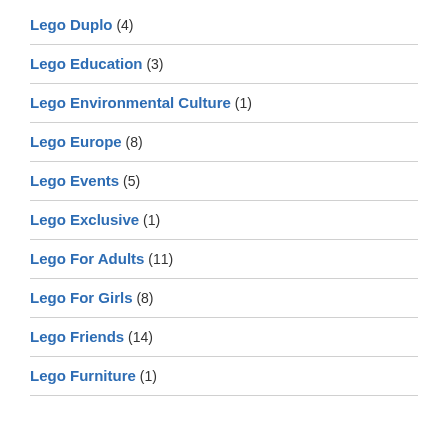Lego Duplo (4)
Lego Education (3)
Lego Environmental Culture (1)
Lego Europe (8)
Lego Events (5)
Lego Exclusive (1)
Lego For Adults (11)
Lego For Girls (8)
Lego Friends (14)
Lego Furniture (1)